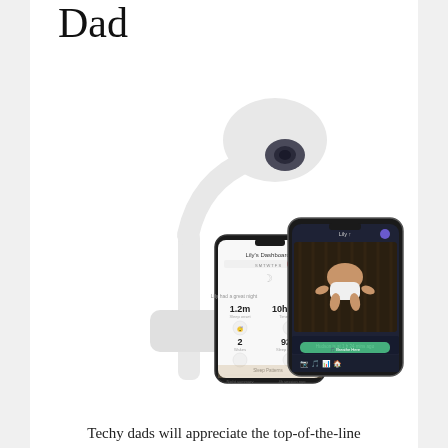Dad
[Figure (photo): A smart baby monitor device (white, oval-headed camera on a flexible arm/pole) shown alongside two smartphones displaying a baby tracking app — one phone shows a sleep dashboard with stats like '1.2m' and '10h 42m', the other shows a live video feed of a baby lying in a crib.]
Techy dads will appreciate the top-of-the-line